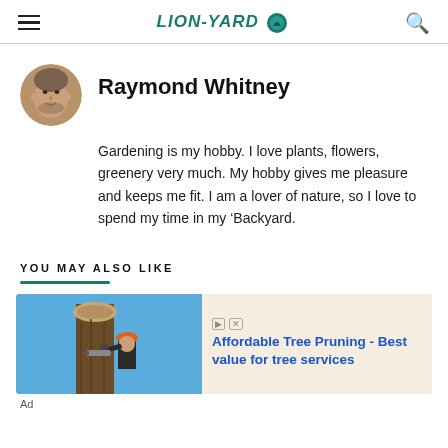LION-YARD
Raymond Whitney
Gardening is my hobby. I love plants, flowers, greenery very much. My hobby gives me pleasure and keeps me fit. I am a lover of nature, so I love to spend my time in my ‘Backyard.
YOU MAY ALSO LIKE
[Figure (photo): Advertisement showing a worker in orange hard hat and safety gear pruning a large tree with a chainsaw. Text reads: Affordable Tree Pruning - Best value for tree services]
Ad